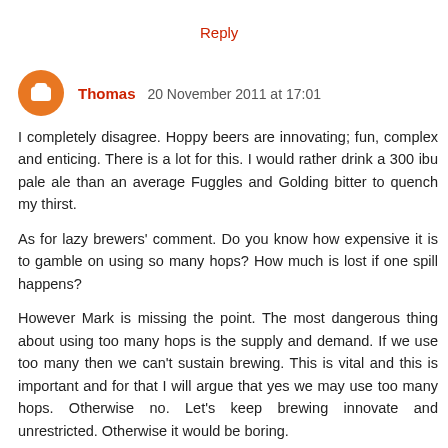Reply
Thomas  20 November 2011 at 17:01
I completely disagree. Hoppy beers are innovating; fun, complex and enticing. There is a lot for this. I would rather drink a 300 ibu pale ale than an average Fuggles and Golding bitter to quench my thirst.

As for lazy brewers' comment. Do you know how expensive it is to gamble on using so many hops? How much is lost if one spill happens?

However Mark is missing the point. The most dangerous thing about using too many hops is the supply and demand. If we use too many then we can't sustain brewing. This is vital and this is important and for that I will argue that yes we may use too many hops. Otherwise no. Let's keep brewing innovate and unrestricted. Otherwise it would be boring.
Reply